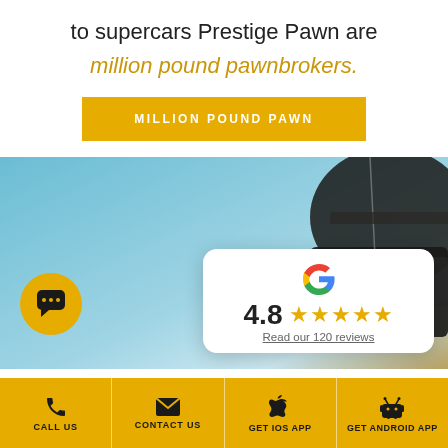to supercars Prestige Pawn are
million pound pawnbrokers.
MILLION POUND PAWN
[Figure (photo): A car photographed against a blue sky, with a yellow chat button overlay and a Google review card showing 4.8 stars and 120 reviews.]
CALL US | CONTACT US | GET iOS APP | GET ANDROID APP